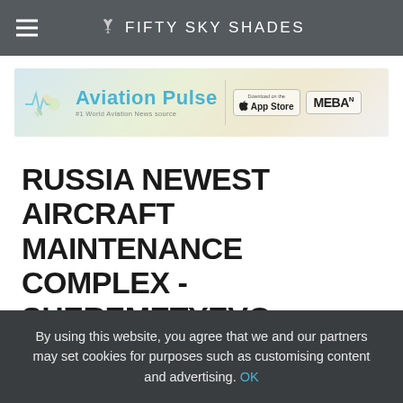FIFTY SKY SHADES
[Figure (illustration): Aviation Pulse banner advertisement — #1 World Aviation News source, with App Store and MEBA logos]
RUSSIA NEWEST AIRCRAFT MAINTENANCE COMPLEX - SHEREMETYEVO AIRPORT AND ROSSIYA AIRLINES
By using this website, you agree that we and our partners may set cookies for purposes such as customising content and advertising. OK